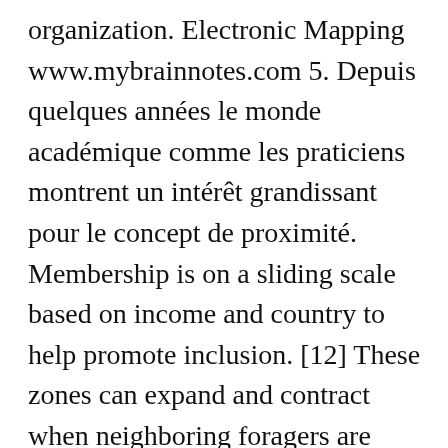organization. Electronic Mapping www.mybrainnotes.com 5. Depuis quelques années le monde académique comme les praticiens montrent un intérêt grandissant pour le concept de proximité. Membership is on a sliding scale based on income and country to help promote inclusion. [12] These zones can expand and contract when neighboring foragers are removed or introduced, respectively. Spatial distribution refers to the set of geographic observations depicting the importance of the behavior of an extraordinary phenomenon or characteristic across different locations on the earth's surface. Example sentences with